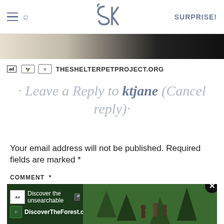SK — SURPRISE!
[Figure (photo): Advertisement banner image showing pets and shelter pet project logos with text THESHELTERPETPROJECT.ORG]
· Leave a Reply to ktjane (Cancel reply)·
Your email address will not be published. Required fields are marked *
COMMENT *
[Figure (screenshot): Advertisement for DiscoverTheForest.org showing 'Discover the unsearchable' text over a forest background with hikers]